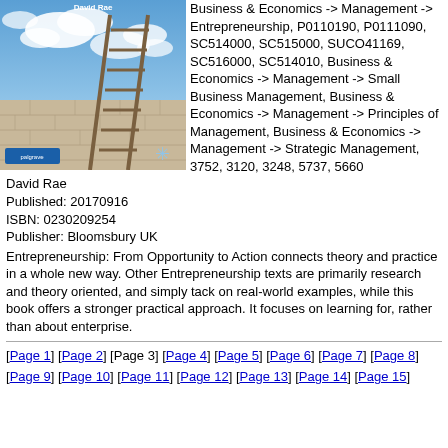[Figure (photo): Book cover showing a ladder leaning against a wall with a cloudy blue sky background, titled 'David Rae' at the top]
Business & Economics -> Management -> Entrepreneurship, P0110190, P0111090, SC514000, SC515000, SUCO41169, SC516000, SC514010, Business & Economics -> Management -> Small Business Management, Business & Economics -> Management -> Principles of Management, Business & Economics -> Management -> Strategic Management, 3752, 3120, 3248, 5737, 5660
David Rae
Published: 20170916
ISBN: 0230209254
Publisher: Bloomsbury UK
Entrepreneurship: From Opportunity to Action connects theory and practice in a whole new way. Other Entrepreneurship texts are primarily research and theory oriented, and simply tack on real-world examples, while this book offers a stronger practical approach. It focuses on learning for, rather than about enterprise.
[Page 1] [Page 2] [Page 3] [Page 4] [Page 5] [Page 6] [Page 7] [Page 8] [Page 9] [Page 10] [Page 11] [Page 12] [Page 13] [Page 14] [Page 15]